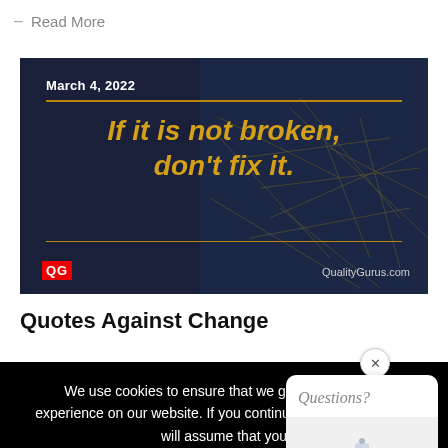— Read More
[Figure (infographic): Dark background image with golden text quote 'If it is not broken, don't fix it.' with date March 4, 2022, gold horizontal lines, network pattern, and QualityGurus.com branding]
Quotes Against Change
We use cookies to ensure that we give you the best experience on our website. If you continue to use this site we will assume that you are happy with it.
Ok